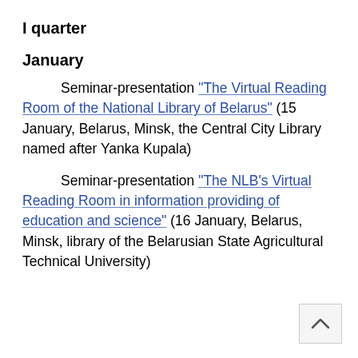I quarter
January
Seminar-presentation "The Virtual Reading Room of the National Library of Belarus" (15 January, Belarus, Minsk, the Central City Library named after Yanka Kupala)
Seminar-presentation "The NLB's Virtual Reading Room in information providing of education and science" (16 January, Belarus, Minsk, library of the Belarusian State Agricultural Technical University)